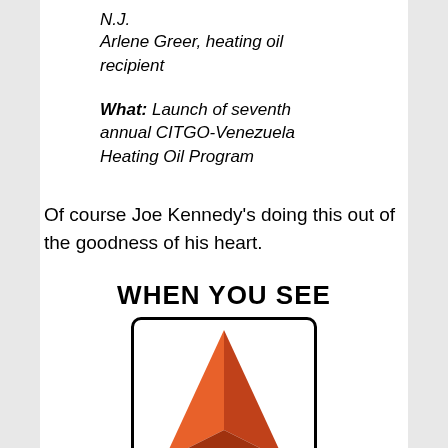N.J.
Arlene Greer, heating oil recipient
What: Launch of seventh annual CITGO-Venezuela Heating Oil Program
Of course Joe Kennedy's doing this out of the goodness of his heart.
[Figure (logo): CITGO logo: text 'WHEN YOU SEE' above a rounded rectangle containing a red/orange triangle (CITGO logo mark)]